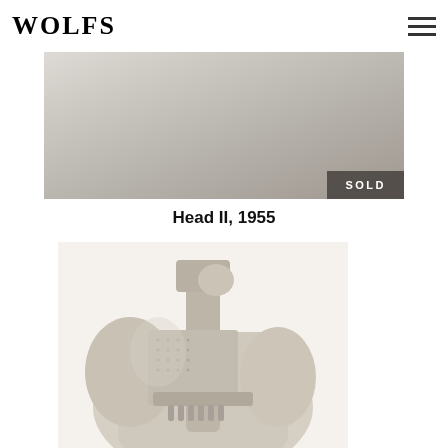WOLFS
[Figure (photo): Partial view of a stone or plaster sculpture with a soft grey background. A dark grey 'SOLD' badge appears in the bottom-right corner of the image.]
Head II, 1955
[Figure (photo): Close-up photograph of an abstract stone or plaster sculpture titled 'Head II, 1955'. The sculpture features geometric and organic forms suggesting a stylized head, with textured surfaces in cream/beige tones.]